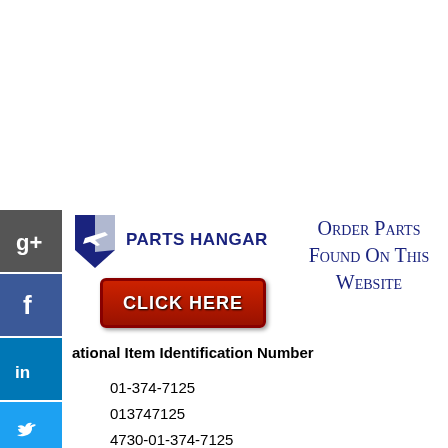[Figure (logo): Parts Hangar logo with social media icons (Google+, Facebook, LinkedIn, Twitter, Google, StumbleUpon) on left sidebar, Parts Hangar logo with aircraft icon, red CLICK HERE button, and Order Parts Found On This Website text]
ational Item Identification Number
01-374-7125
013747125
4730-01-374-7125
4730013747125